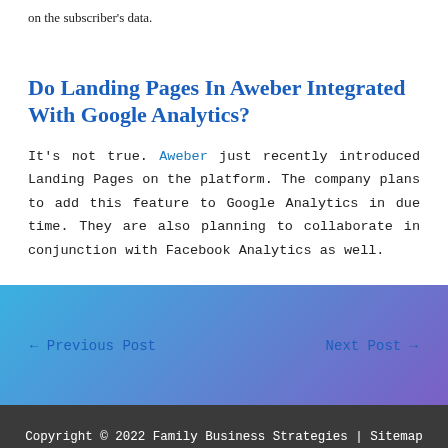on the subscriber's data.
Do Landing Pages In Aweber Integrated With Google Analytics?
It's not true. Aweber just recently introduced Landing Pages on the platform. The company plans to add this feature to Google Analytics in due time. They are also planning to collaborate in conjunction with Facebook Analytics as well.
← Previous Post
Next Post →
Copyright © 2022 Family Business Strategies | Sitemap | Disclaimer: We receive compensation from companies whose products and services we recommend